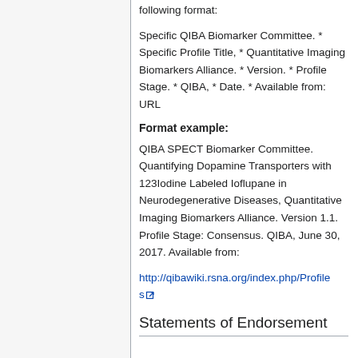following format:
Specific QIBA Biomarker Committee. * Specific Profile Title, * Quantitative Imaging Biomarkers Alliance. * Version. * Profile Stage. * QIBA, * Date. * Available from: URL
Format example:
QIBA SPECT Biomarker Committee. Quantifying Dopamine Transporters with 123Iodine Labeled Ioflupane in Neurodegenerative Diseases, Quantitative Imaging Biomarkers Alliance. Version 1.1. Profile Stage: Consensus. QIBA, June 30, 2017. Available from:
http://qibawiki.rsna.org/index.php/Profiles
Statements of Endorsement